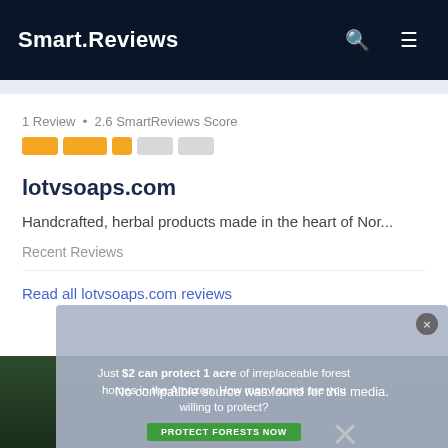Smart.Reviews
1 Review • 2.6 SmartReviews Score
lotvsoaps.com
Handcrafted, herbal products made in the heart of Nor...
Recent Reviews
No compatible source was found for this media.
Read all lotvsoaps.com reviews
[Figure (infographic): Advertisement banner: Just $2 can protect 1 acre of irreplaceable forest homes in the Amazon. How many acres are you willing to protect? PROTECT FORESTS NOW button.]